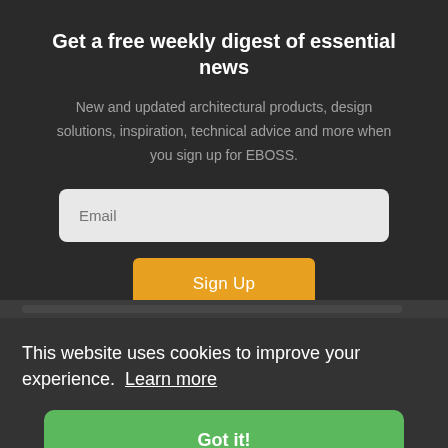Get a free weekly digest of essential news
New and updated architectural products, design solutions, inspiration, technical advice and more when you sign up for EBOSS.
Email
Sign Up
This website uses cookies to improve your experience.  Learn more
Got it!
Library